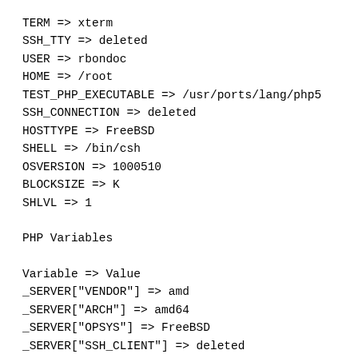TERM => xterm
SSH_TTY => deleted
USER => rbondoc
HOME => /root
TEST_PHP_EXECUTABLE => /usr/ports/lang/php5
SSH_CONNECTION => deleted
HOSTTYPE => FreeBSD
SHELL => /bin/csh
OSVERSION => 1000510
BLOCKSIZE => K
SHLVL => 1
PHP Variables
Variable => Value
_SERVER["VENDOR"] => amd
_SERVER["ARCH"] => amd64
_SERVER["OPSYS"] => FreeBSD
_SERVER["SSH_CLIENT"] => deleted